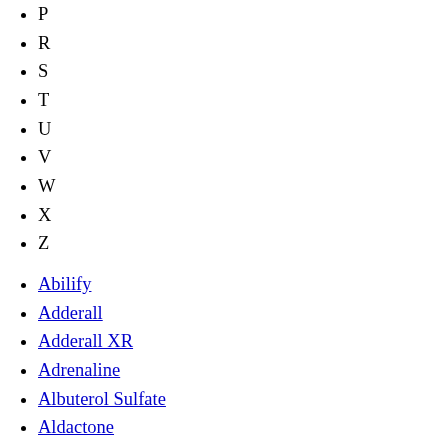P
R
S
T
U
V
W
X
Z
Abilify
Adderall
Adderall XR
Adrenaline
Albuterol Sulfate
Aldactone
Allegra
Ambien
Amikin
Amoxicillin
Antivert
Aricept
Armour Thyroid
Atarax
Atenolol